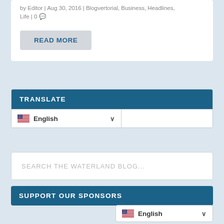by Editor | Aug 30, 2016 | Blogvertorial, Business, Headlines, Life | 0
READ MORE
TRANSLATE
English
SEARCH THE WATERLAND BLOG...
SUPPORT OUR SPONSORS
English